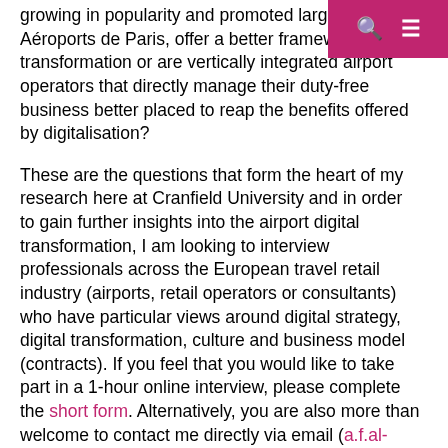Search | Menu
growing in popularity and promoted largely by Aéroports de Paris, offer a better framework for transformation or are vertically integrated airport operators that directly manage their duty-free business better placed to reap the benefits offered by digitalisation?
These are the questions that form the heart of my research here at Cranfield University and in order to gain further insights into the airport digital transformation, I am looking to interview professionals across the European travel retail industry (airports, retail operators or consultants) who have particular views around digital strategy, digital transformation, culture and business model (contracts). If you feel that you would like to take part in a 1-hour online interview, please complete the short form. Alternatively, you are also more than welcome to contact me directly via email (a.f.al-hinai@cranfield.ac.uk) or through LinkedIn.